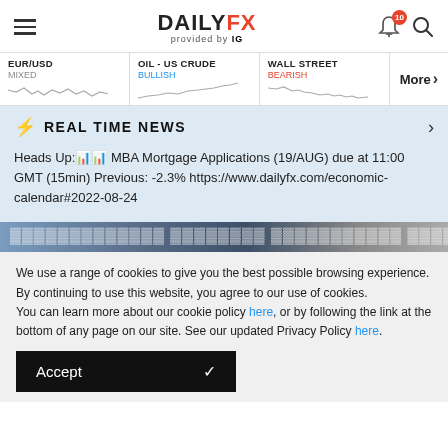DAILYFX provided by IG
[Figure (continuous-plot): EUR/USD mini sparkline chart, sentiment: MIXED]
[Figure (continuous-plot): OIL - US CRUDE mini sparkline chart, sentiment: BULLISH]
[Figure (continuous-plot): WALL STREET mini sparkline chart, sentiment: BEARISH]
REAL TIME NEWS
Heads Up:📊📊 MBA Mortgage Applications (19/AUG) due at 11:00 GMT (15min) Previous: -2.3% https://www.dailyfx.com/economic-calendar#2022-08-24
We use a range of cookies to give you the best possible browsing experience. By continuing to use this website, you agree to our use of cookies.
You can learn more about our cookie policy here, or by following the link at the bottom of any page on our site. See our updated Privacy Policy here.